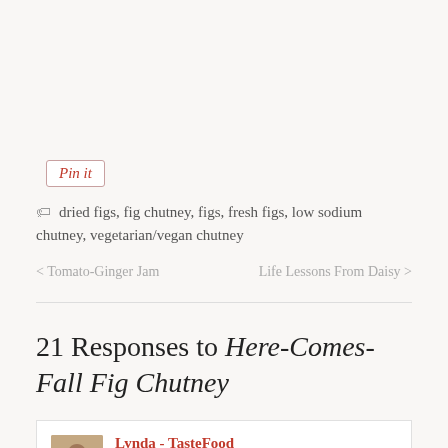[Figure (other): Pin it button - a styled button with cursive red text 'Pin it' in a white rounded rectangle with pink border]
dried figs, fig chutney, figs, fresh figs, low sodium chutney, vegetarian/vegan chutney
< Tomato-Ginger Jam    Life Lessons From Daisy >
21 Responses to Here-Comes-Fall Fig Chutney
Lynda - TasteFood  August 30, 2013 at 1:44 pm  REPLY